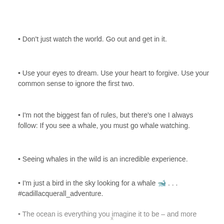Don't just watch the world. Go out and get in it.
Use your eyes to dream. Use your heart to forgive. Use your common sense to ignore the first two.
I'm not the biggest fan of rules, but there's one I always follow: If you see a whale, you must go whale watching.
Seeing whales in the wild is an incredible experience.
I'm just a bird in the sky looking for a whale 🐋 . . . #cadillacquerall_adventure.
The ocean is everything you imagine it to be – and more
x